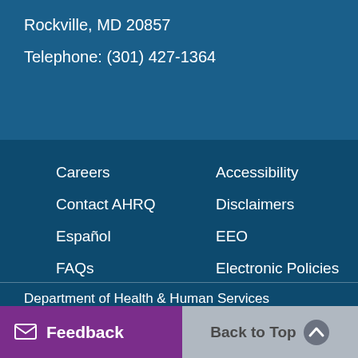Rockville, MD 20857
Telephone: (301) 427-1364
Careers
Contact AHRQ
Español
FAQs
FOIA
HHS Digital Strategy
HHS Nondiscrimination Notice
Inspector General
Accessibility
Disclaimers
EEO
Electronic Policies
Plain Writing Act
Privacy Policy
Viewers & Players
Department of Health & Human Services
The White House